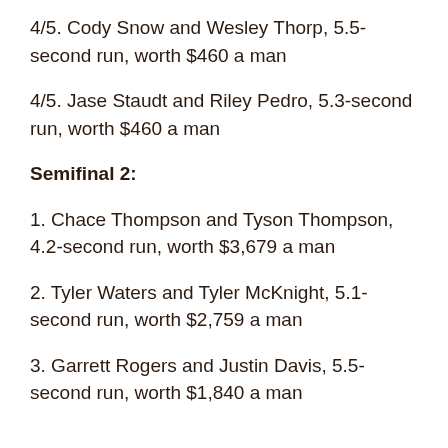4/5. Cody Snow and Wesley Thorp, 5.5-second run, worth $460 a man
4/5. Jase Staudt and Riley Pedro, 5.3-second run, worth $460 a man
Semifinal 2:
1. Chace Thompson and Tyson Thompson, 4.2-second run, worth $3,679 a man
2. Tyler Waters and Tyler McKnight, 5.1-second run, worth $2,759 a man
3. Garrett Rogers and Justin Davis, 5.5-second run, worth $1,840 a man